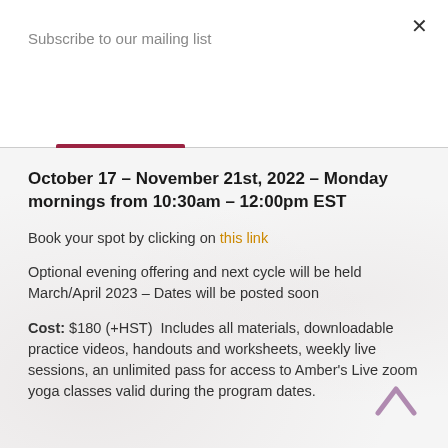Subscribe to our mailing list
Subscribe
October 17 – November 21st, 2022 – Monday mornings from 10:30am – 12:00pm EST
Book your spot by clicking on this link
Optional evening offering and next cycle will be held March/April 2023 – Dates will be posted soon
Cost: $180 (+HST)  Includes all materials, downloadable practice videos, handouts and worksheets, weekly live sessions, an unlimited pass for access to Amber's Live zoom yoga classes valid during the program dates.